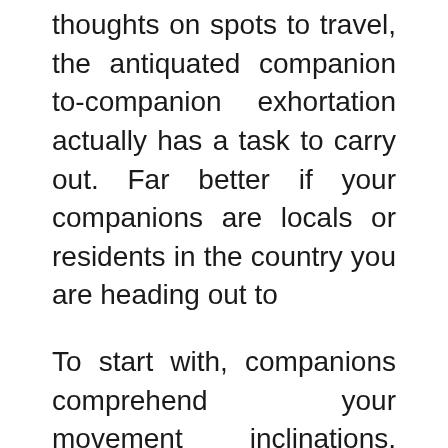thoughts on spots to travel, the antiquated companion to-companion exhortation actually has a task to carry out. Far better if your companions are locals or residents in the country you are heading out to
To start with, companions comprehend your movement inclinations, spending imperatives and propensities better than sites and online journals do, and can offer you customized exhortation to suit your movement needs. Second